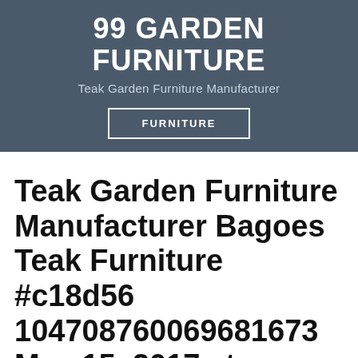[Figure (logo): Website header banner with dark blue-grey background containing the site title '99 GARDEN FURNITURE', subtitle 'Teak Garden Furniture Manufacturer', and a navigation button labeled 'FURNITURE']
Teak Garden Furniture Manufacturer Bagoes Teak Furniture #c18d56 104708760069681673 May 15, 2017 at 03:31AM